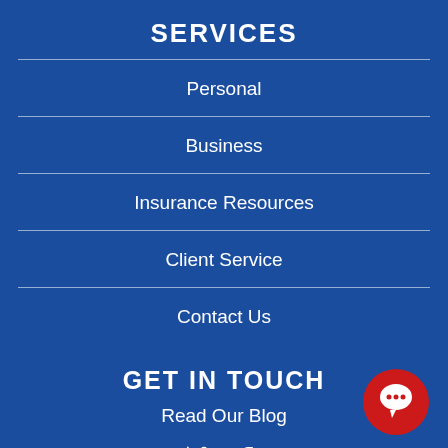SERVICES
Personal
Business
Insurance Resources
Client Service
Contact Us
GET IN TOUCH
Read Our Blog
[Figure (illustration): Twitter and Facebook social media icons in white]
[Figure (illustration): Red circular chat bubble icon in bottom right corner]